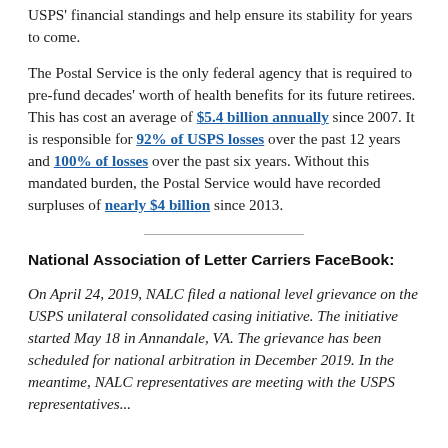USPS' financial standings and help ensure its stability for years to come.
The Postal Service is the only federal agency that is required to pre-fund decades' worth of health benefits for its future retirees. This has cost an average of $5.4 billion annually since 2007. It is responsible for 92% of USPS losses over the past 12 years and 100% of losses over the past six years. Without this mandated burden, the Postal Service would have recorded surpluses of nearly $4 billion since 2013.
National Association of Letter Carriers FaceBook:
On April 24, 2019, NALC filed a national level grievance on the USPS unilateral consolidated casing initiative. The initiative started May 18 in Annandale, VA. The grievance has been scheduled for national arbitration in December 2019. In the meantime, NALC representatives are meeting with the USPS representatives...